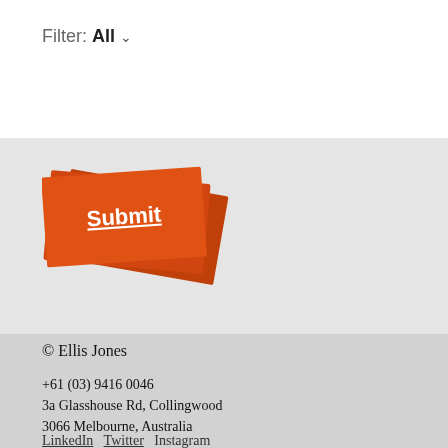Filter: All ∨
[Figure (illustration): Stacked orange/red cards with 'Submit' text in white underlined on the front card, rotated at slight angles]
© Ellis Jones
+61 (03) 9416 0046
3a Glasshouse Rd, Collingwood
3066 Melbourne, Australia
LinkedIn
Twitter
Instagram